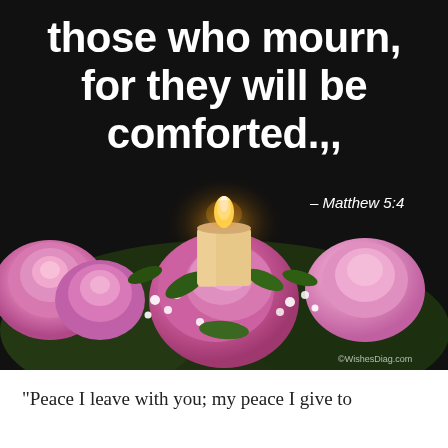[Figure (illustration): Dark background image with a lit candle surrounded by pink roses and greenery, with overlaid Bible quote text and attribution to Matthew 5:4]
those who mourn, for they will be comforted.,,
– Matthew 5:4
“Peace I leave with you; my peace I give to